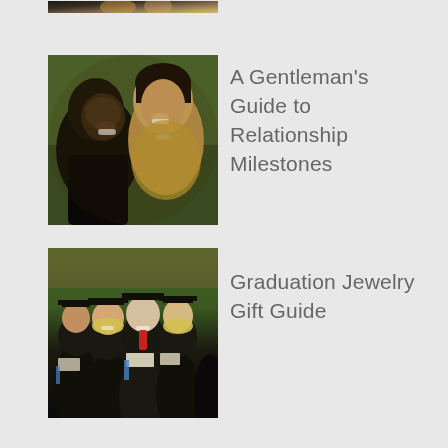[Figure (photo): Top-cropped photo, partially visible at top of page]
[Figure (photo): Couple smiling together outdoors — a man and a woman laughing]
A Gentleman’s Guide to Relationship Milestones
[Figure (photo): Group of graduates in black caps and gowns holding diplomas]
Graduation Jewelry Gift Guide